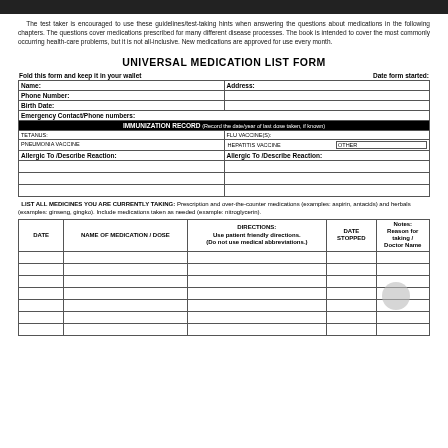[Figure (other): Dark header bar at top of page]
The test taker is encouraged to use these guidelines/test-taking hints when answering the questions about medications in the following chapters. The questions cover medications prescribed for many different disease processes. The book is intended to cover the most commonly occurring health-care problems, but it is not all-inclusive. New medications are approved for use every month.
UNIVERSAL MEDICATION LIST FORM
| Fold this form and keep it in your wallet | Date form started: |
| --- | --- |
| Name: | Address: |
| Phone Number: |  |
| Birth Date: |  |
| Emergency Contact/Phone numbers: |  |
| IMMUNIZATION RECORD (Record the date/year of last dose taken, if known) |  |
| TETANUS: | FLU VACCINE(S): |
| PNEUMONIA VACCINE | HEPATITIS VACCINE | OTHER |
| Allergic To /Describe Reaction: | Allergic To /Describe Reaction: |
|  |  |
|  |  |
|  |  |
LIST ALL MEDICINES YOU ARE CURRENTLY TAKING: Prescription and over-the-counter medications (examples: aspirin, antacids) and herbals (examples: ginseng, gingko). Include medications taken as needed (example: nitroglycerin).
| DATE | NAME OF MEDICATION / DOSE | DIRECTIONS: Use patient friendly directions. (Do not use medical abbreviations.) | DATE STOPPED | Notes: Reason for taking / Doctor Name |
| --- | --- | --- | --- | --- |
|  |  |  |  |  |
|  |  |  |  |  |
|  |  |  |  |  |
|  |  |  |  |  |
|  |  |  |  |  |
|  |  |  |  |  |
|  |  |  |  |  |